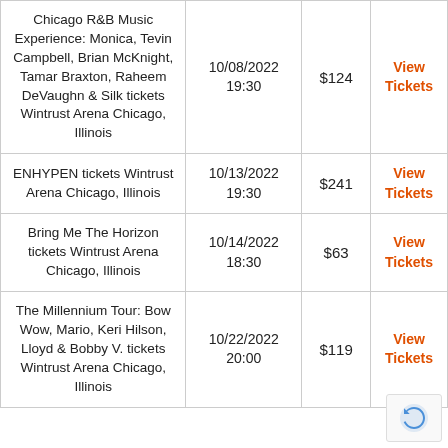| Event | Date/Time | Price | Action |
| --- | --- | --- | --- |
| Chicago R&B Music Experience: Monica, Tevin Campbell, Brian McKnight, Tamar Braxton, Raheem DeVaughn & Silk tickets Wintrust Arena Chicago, Illinois | 10/08/2022 19:30 | $124 | View Tickets |
| ENHYPEN tickets Wintrust Arena Chicago, Illinois | 10/13/2022 19:30 | $241 | View Tickets |
| Bring Me The Horizon tickets Wintrust Arena Chicago, Illinois | 10/14/2022 18:30 | $63 | View Tickets |
| The Millennium Tour: Bow Wow, Mario, Keri Hilson, Lloyd & Bobby V. tickets Wintrust Arena Chicago, Illinois | 10/22/2022 20:00 | $119 | View Tickets |